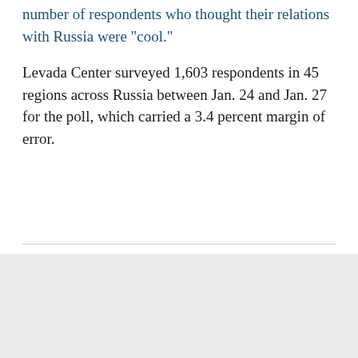number of respondents who thought their relations with Russia were "cool."
Levada Center surveyed 1,603 respondents in 45 regions across Russia between Jan. 24 and Jan. 27 for the poll, which carried a 3.4 percent margin of error.
[Figure (other): Social media sharing icons: Facebook, Twitter, Telegram, WhatsApp, Email, Flipboard]